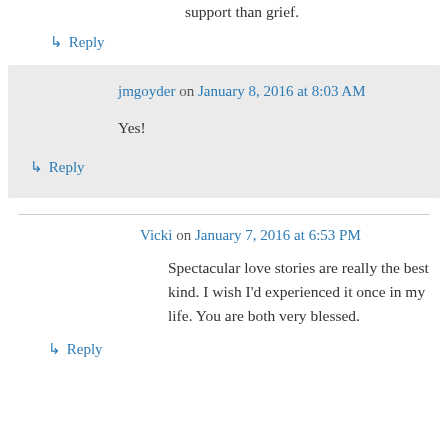it does sound like you are receiving more support than grief.
↳ Reply
jmgoyder on January 8, 2016 at 8:03 AM
Yes!
↳ Reply
Vicki on January 7, 2016 at 6:53 PM
Spectacular love stories are really the best kind. I wish I'd experienced it once in my life. You are both very blessed.
↳ Reply